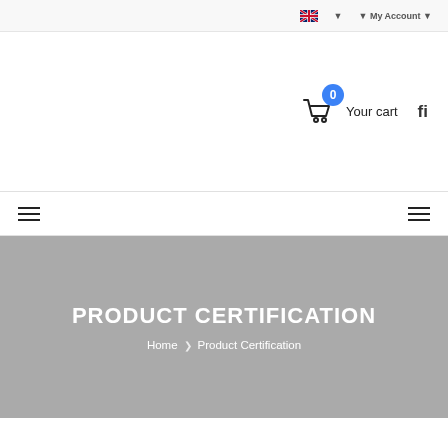My Account
[Figure (screenshot): Shopping cart icon with badge showing 0 items and 'Your cart' label, plus search icon]
[Figure (other): Hamburger menu icons on left and right sides of navigation bar]
PRODUCT CERTIFICATION
Home > Product Certification